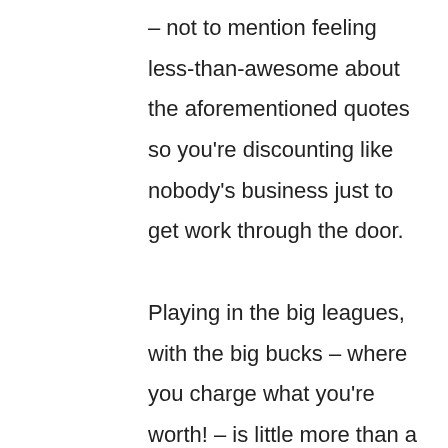– not to mention feeling less-than-awesome about the aforementioned quotes so you're discounting like nobody's business just to get work through the door.

Playing in the big leagues, with the big bucks – where you charge what you're worth! – is little more than a pipe dream for you right now. Heck, you can't even stand by the prices you're emailing to your clients!